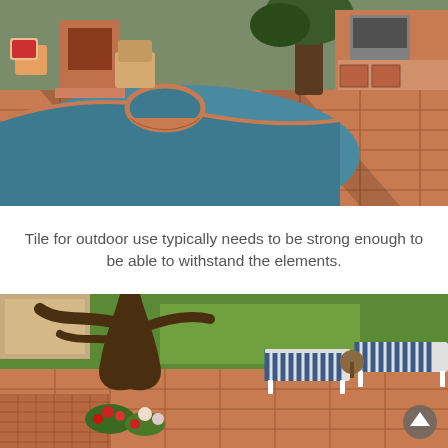[Figure (photo): Outdoor pool and patio area with terracotta/clay tile flooring, a raised spa/hot tub, outdoor fireplace, seating area, outdoor kitchen with BBQ grill, and a large tree. Sunny day with shadows cast across tiles.]
Tile for outdoor use typically needs to be strong enough to be able to withstand the elements.
[Figure (photo): Outdoor patio area with terracotta/rustic tile flooring, a large tree in the foreground, striped lounge chairs/chaise lounges, green lawn in background, and colorful flowers (red, pink, white) near the tree base. A circular scroll-up button is visible in the lower right corner.]